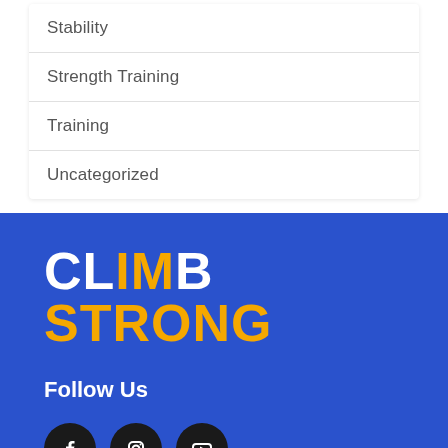Stability
Strength Training
Training
Uncategorized
[Figure (logo): CLIMB STRONG logo — CLIMB in white and gold, STRONG in gold, bold condensed sans-serif on blue background]
Follow Us
[Figure (infographic): Three social media icons: Facebook, Instagram, YouTube — dark circular buttons on blue background]